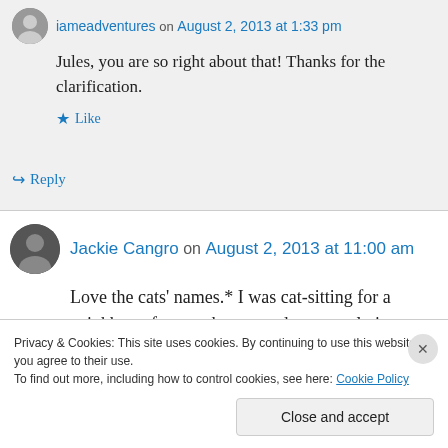iameadventures on August 2, 2013 at 1:33 pm
Jules, you are so right about that! Thanks for the clarification.
Like
Reply
Jackie Cangro on August 2, 2013 at 11:00 am
Love the cats' names.* I was cat-sitting for a neighbor a few weeks ago and was nearly in a
Privacy & Cookies: This site uses cookies. By continuing to use this website, you agree to their use.
To find out more, including how to control cookies, see here: Cookie Policy
Close and accept